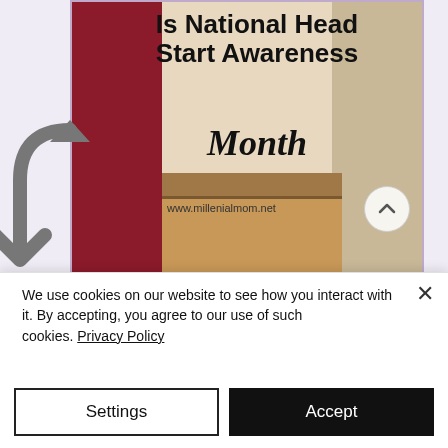[Figure (screenshot): A blog post image for millenialmom.net showing 'Is National Head Start Awareness Month' with children in background, url www.millenialmom.net, and partial text 'Great Preschool Education' at the bottom. A share/bookmark arrow overlay is visible on the left. A scroll-to-top button (chevron up in circle) is on the right.]
We use cookies on our website to see how you interact with it. By accepting, you agree to our use of such cookies. Privacy Policy